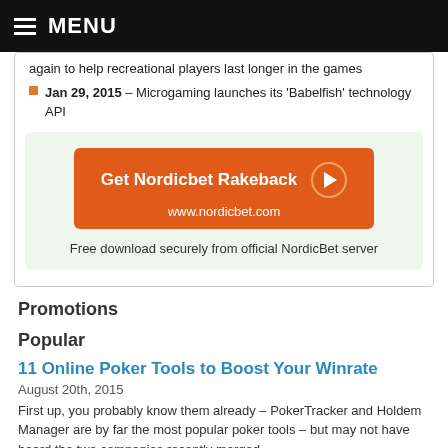MENU
again to help recreational players last longer in the games
Jan 29, 2015 – Microgaming launches its 'Babelfish' technology API
[Figure (other): Get Nordicbet Rakeback button with play icon and URL www.nordicbet.com. Free download securely from official NordicBet server.]
Promotions
Popular
11 Online Poker Tools to Boost Your Winrate
August 20th, 2015
First up, you probably know them already – PokerTracker and Holdem Manager are by far the most popular poker tools – but may not have heard the two companies recently merged.